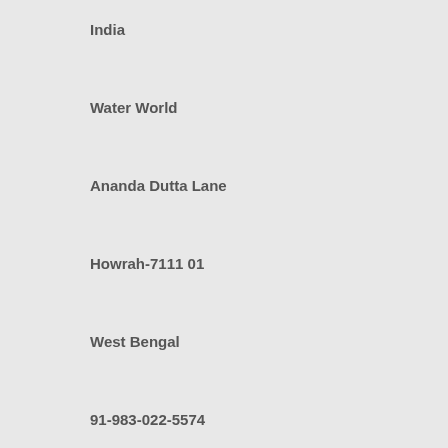India
Water World
Ananda Dutta Lane
Howrah-7111 01
West Bengal
91-983-022-5574
France
Anthias
3 Chemin de Maupas
69380 Les Cheres
33-437-50-29-80
Malta
Blue Reefs